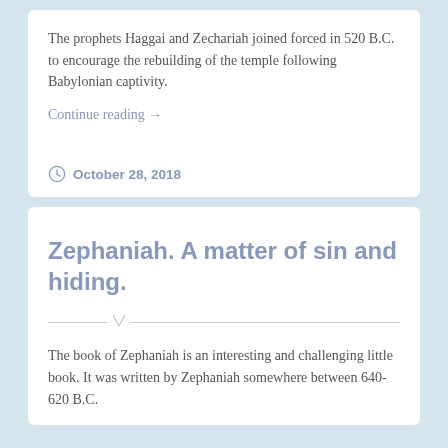The prophets Haggai and Zechariah joined forced in 520 B.C. to encourage the rebuilding of the temple following Babylonian captivity.
Continue reading →
October 28, 2018
Zephaniah. A matter of sin and hiding.
The book of Zephaniah is an interesting and challenging little book. It was written by Zephaniah somewhere between 640-620 B.C.